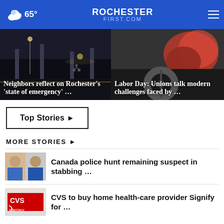65° ROCHESTERFIRST.COM
[Figure (photo): Night street scene with bike rider, dark city background]
Neighbors reflect on Rochester's 'state of emergency' …
[Figure (photo): Black and white industrial/union imagery with red accents]
Labor Day: Unions talk modern challenges faced by …
Top Stories ▶
MORE STORIES ▶
[Figure (photo): Two mugshot photos of suspects]
Canada police hunt remaining suspect in stabbing …
[Figure (photo): CVS pharmacy sign]
CVS to buy home health-care provider Signify for …